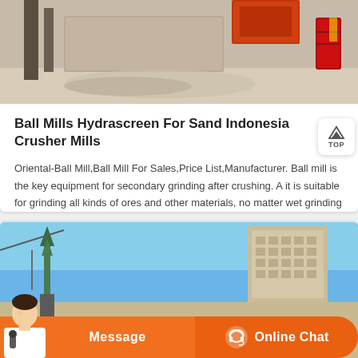[Figure (photo): Industrial scene showing construction/mining equipment area with concrete structures, orange machinery in background, and red barrel on right side]
Ball Mills Hydrascreen For Sand Indonesia Crusher Mills
Oriental-Ball Mill,Ball Mill For Sales,Price List,Manufacturer. Ball mill is the key equipment for secondary grinding after crushing. A it is suitable for grinding all kinds of ores and other materials, no matter wet grinding or
[Figure (photo): Outdoor industrial/construction site scene with blue sky, green tower structure on left, large multi-story building on right]
Message
Online Chat